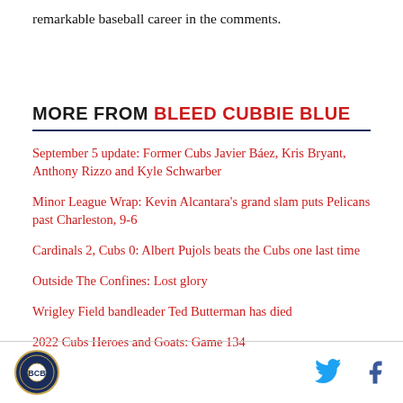remarkable baseball career in the comments.
MORE FROM BLEED CUBBIE BLUE
September 5 update: Former Cubs Javier Báez, Kris Bryant, Anthony Rizzo and Kyle Schwarber
Minor League Wrap: Kevin Alcantara's grand slam puts Pelicans past Charleston, 9-6
Cardinals 2, Cubs 0: Albert Pujols beats the Cubs one last time
Outside The Confines: Lost glory
Wrigley Field bandleader Ted Butterman has died
2022 Cubs Heroes and Goats: Game 134
Logo and social media icons